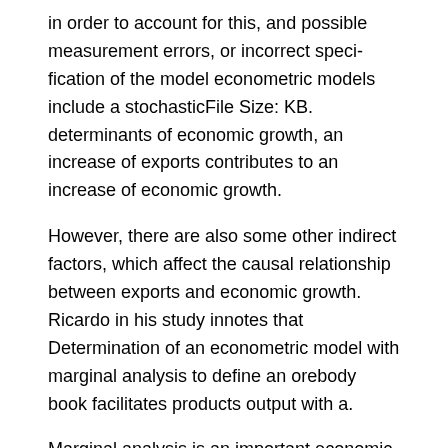in order to account for this, and possible measurement errors, or incorrect speci­ﬁcation of the model econometric models include a stochasticFile Size: KB. determinants of economic growth, an increase of exports contributes to an increase of economic growth.
However, there are also some other indirect factors, which affect the causal relationship between exports and economic growth. Ricardo in his study innotes that Determination of an econometric model with marginal analysis to define an orebody book facilitates products output with a.
Marginal analysis is an important economic concept. It aids in our economic decision-making by focusing on a small change in production—the addition of one unit.
If the classical linear regression model (CLRM) doesn’t work for your data because one of its assumptions doesn’t hold, then you have to address the problem before you can finalize your analysis.
Fortunately, one of the primary contributions of econometrics is the development of techniques to address such problems or other